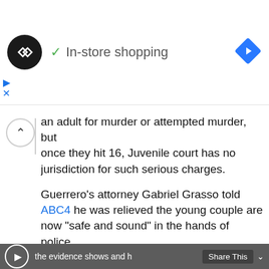[Figure (screenshot): Ad banner showing a dark circular logo with arrows, a checkmark with 'In-store shopping' text, and a blue diamond arrow icon on the right]
an adult for murder or attempted murder, but once they hit 16, Juvenile court has no jurisdiction for such serious charges.
Guerrero's attorney Gabriel Grasso told ABC4 he was relieved the young couple are now "safe and sound" in the hands of police.
"Now that, hopefully, they are safe and sound, and they're in the hands of the authorities at this point, but at least they're not, you know, out there on their own, and they're, I mean, they're both pretty young people," he said. "Now, reality sets in, and we have to see what's up and what the evidence shows and how much, if any, trouble they're in."